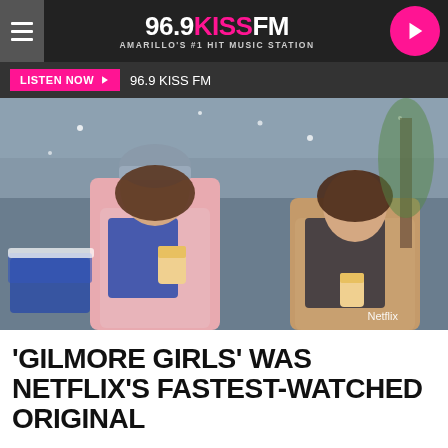96.9 KISS FM – AMARILLO'S #1 HIT MUSIC STATION
LISTEN NOW ▶  96.9 KISS FM
[Figure (photo): Two women standing outdoors in winter, one in a pink coat with a grey beanie holding a coffee cup looking up, the other in a tan coat holding a coffee cup. Snow-covered scene. Netflix watermark visible.]
'GILMORE GIRLS' WAS NETFLIX'S FASTEST-WATCHED ORIGINAL